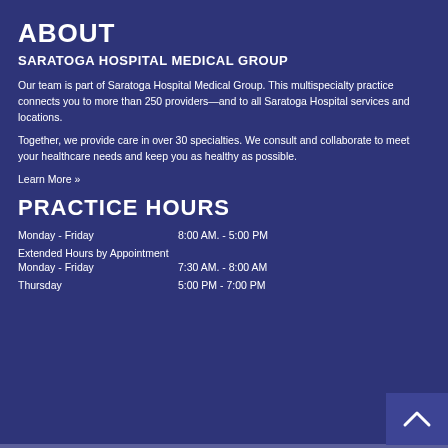ABOUT
SARATOGA HOSPITAL MEDICAL GROUP
Our team is part of Saratoga Hospital Medical Group. This multispecialty practice connects you to more than 250 providers—and to all Saratoga Hospital services and locations.
Together, we provide care in over 30 specialties. We consult and collaborate to meet your healthcare needs and keep you as healthy as possible.
Learn More »
PRACTICE HOURS
| Day | Hours |
| --- | --- |
| Monday - Friday | 8:00 AM. - 5:00 PM |
| Extended Hours by Appointment |  |
| Monday - Friday | 7:30 AM. - 8:00 AM |
| Thursday | 5:00 PM - 7:00 PM |